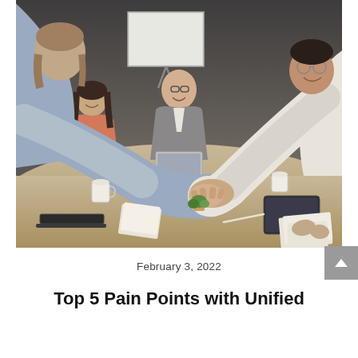[Figure (photo): Business meeting photo showing people shaking hands across a conference table. Multiple people visible including two men shaking hands in the foreground, a smiling woman to the left, a man with glasses in the center background, and another person on the right. A laptop, tablet, notebook, papers, coffee cups, and a small plant are on the table. A whiteboard is visible in the background.]
February 3, 2022
Top 5 Pain Points with Unified